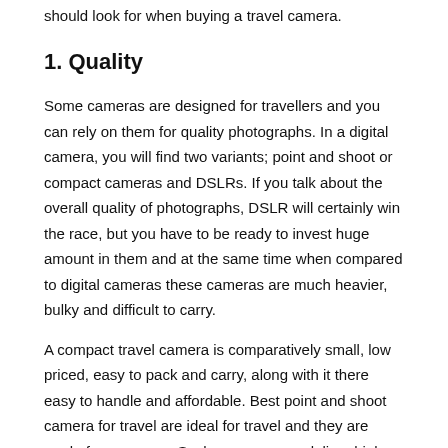should look for when buying a travel camera.
1. Quality
Some cameras are designed for travellers and you can rely on them for quality photographs. In a digital camera, you will find two variants; point and shoot or compact cameras and DSLRs. If you talk about the overall quality of photographs, DSLR will certainly win the race, but you have to be ready to invest huge amount in them and at the same time when compared to digital cameras these cameras are much heavier, bulky and difficult to carry.
A compact travel camera is comparatively small, low priced, easy to pack and carry, along with it there easy to handle and affordable. Best point and shoot camera for travel are ideal for travel and they are made for everyone. Such cameras can deliver high-quality photos and many of them